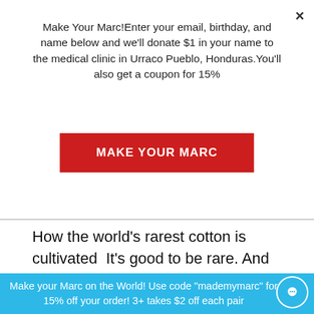Make Your Marc!Enter your email, birthday, and name below and we'll donate $1 in your name to the medical clinic in Urraco Pueblo, Honduras.You'll also get a coupon for 15%
MAKE YOUR MARC
How the world's rarest cotton is cultivated  It's good to be rare. And unique. That's why Marc Skid underwear is made with only the world's finest organic Pima cotton -- 0.0005% of all cotton produced in the world.  But being rare isn't easy. In this case, it takes extraordinary amounts of work from Peruvian farmers who use only the best growing practices. So as we approach National
Make your Marc on the World! Use code "mademymarc" for 15% off your order! 3+ takes $2 off each pair